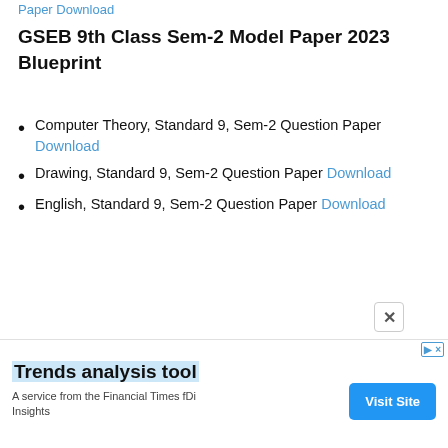Paper Download
GSEB 9th Class Sem-2 Model Paper 2023 Blueprint
Computer Theory, Standard 9, Sem-2 Question Paper Download
Drawing, Standard 9, Sem-2 Question Paper Download
English, Standard 9, Sem-2 Question Paper Download
[Figure (other): Advertisement banner: Trends analysis tool — A service from the Financial Times fDi Insights. Blue 'Visit Site' button on right. Close button (×) and ad marker in top right corner.]